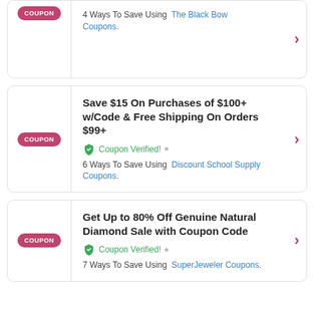4 Ways To Save Using The Black Bow Coupons.
Save $15 On Purchases of $100+ w/Code & Free Shipping On Orders $99+
Coupon Verified! • 6 Ways To Save Using Discount School Supply Coupons.
Get Up to 80% Off Genuine Natural Diamond Sale with Coupon Code
Coupon Verified! • 7 Ways To Save Using SuperJeweler Coupons.